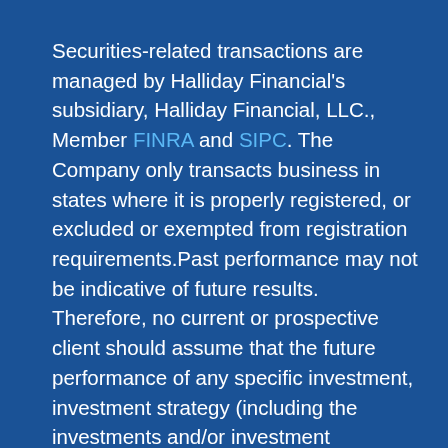Securities-related transactions are managed by Halliday Financial's subsidiary, Halliday Financial, LLC., Member FINRA and SIPC. The Company only transacts business in states where it is properly registered, or excluded or exempted from registration requirements.Past performance may not be indicative of future results. Therefore, no current or prospective client should assume that the future performance of any specific investment, investment strategy (including the investments and/or investment strategies recommended and/or purchased by adviser), or product made reference to directly or indirectly on this Website, or indirectly via link to any unaffiliated third-party Website, will be profitable or equal to corresponding indicated performance levels.Different types of investment involve varying degrees of risk, and there can be no assurance that any specific investment will either be suitable or profitable for a client's investment portfolio. No client or prospective client should assume that any information presented and/or made available on this Website serves as the receipt of, or a substitute for, personalized individual advice from the adviser or any other